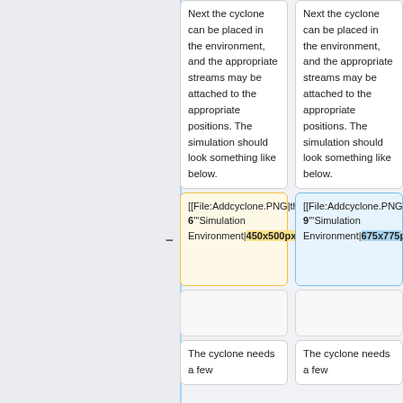Next the cyclone can be placed in the environment, and the appropriate streams may be attached to the appropriate positions. The simulation should look something like below.
Next the cyclone can be placed in the environment, and the appropriate streams may be attached to the appropriate positions. The simulation should look something like below.
[[File:Addcyclone.PNG|thumb|center|'"'Figure 6'"'Simulation Environment|450x500px]]
[[File:Addcyclone.PNG|thumb|center|'"'Figure 9'"'Simulation Environment|675x775px]]
The cyclone needs a few
The cyclone needs a few